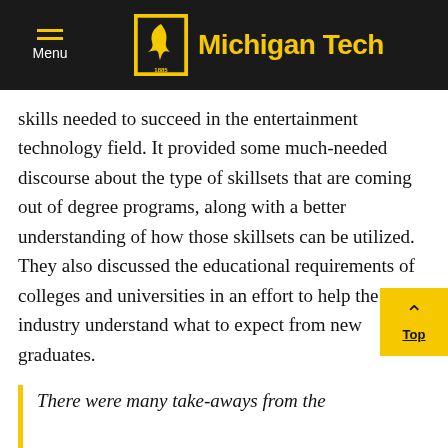Michigan Tech
skills needed to succeed in the entertainment technology field. It provided some much-needed discourse about the type of skillsets that are coming out of degree programs, along with a better understanding of how those skillsets can be utilized. They also discussed the educational requirements of colleges and universities in an effort to help the industry understand what to expect from new graduates.
There were many take-aways from the conference for me… not the least of which was increasing my contact with the companies who hire our students.